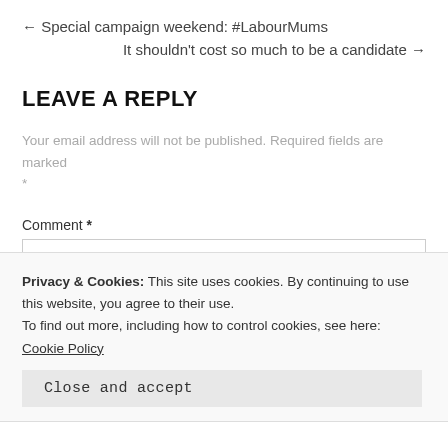← Special campaign weekend: #LabourMums
It shouldn't cost so much to be a candidate →
LEAVE A REPLY
Your email address will not be published. Required fields are marked *
Comment *
Privacy & Cookies: This site uses cookies. By continuing to use this website, you agree to their use.
To find out more, including how to control cookies, see here: Cookie Policy
Close and accept